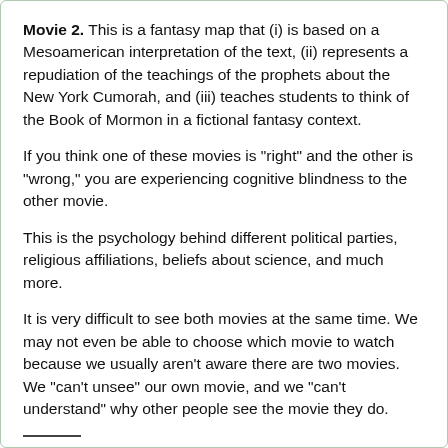Movie 2. This is a fantasy map that (i) is based on a Mesoamerican interpretation of the text, (ii) represents a repudiation of the teachings of the prophets about the New York Cumorah, and (iii) teaches students to think of the Book of Mormon in a fictional fantasy context.
If you think one of these movies is "right" and the other is "wrong," you are experiencing cognitive blindness to the other movie.
This is the psychology behind different political parties, religious affiliations, beliefs about science, and much more.
It is very difficult to see both movies at the same time. We may not even be able to choose which movie to watch because we usually aren't aware there are two movies. We "can't unsee" our own movie, and we "can't understand" why other people see the movie they do.
———
I've explained many times that I'm not trying to persuade